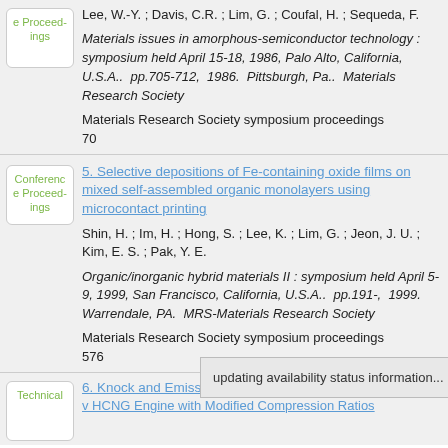Lee, W.-Y. ; Davis, C.R. ; Lim, G. ; Coufal, H. ; Sequeda, F.
Materials issues in amorphous-semiconductor technology : symposium held April 15-18, 1986, Palo Alto, California, U.S.A.. pp.705-712, 1986. Pittsburgh, Pa.. Materials Research Society
Materials Research Society symposium proceedings
70
5. Selective depositions of Fe-containing oxide films on mixed self-assembled organic monolayers using microcontact printing
Shin, H. ; Im, H. ; Hong, S. ; Lee, K. ; Lim, G. ; Jeon, J. U. ; Kim, E. S. ; Pak, Y. E.
Organic/inorganic hybrid materials II : symposium held April 5-9, 1999, San Francisco, California, U.S.A.. pp.191-, 1999. Warrendale, PA. MRS-Materials Research Society
Materials Research Society symposium proceedings
576
updating availability status information...
6. Knock and Emissio
v HCNG Engine with Modified Compression Ratios